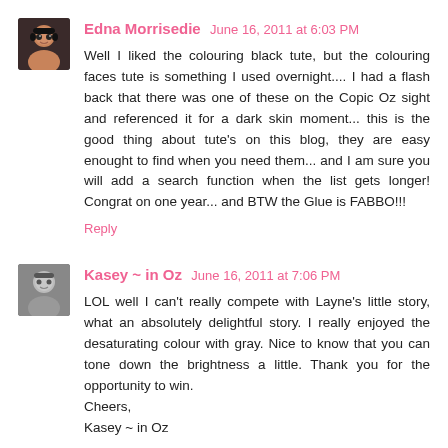Edna Morrisedie  June 16, 2011 at 6:03 PM
Well I liked the colouring black tute, but the colouring faces tute is something I used overnight.... I had a flash back that there was one of these on the Copic Oz sight and referenced it for a dark skin moment... this is the good thing about tute's on this blog, they are easy enought to find when you need them... and I am sure you will add a search function when the list gets longer! Congrat on one year... and BTW the Glue is FABBO!!!
Reply
Kasey ~ in Oz  June 16, 2011 at 7:06 PM
LOL well I can't really compete with Layne's little story, what an absolutely delightful story. I really enjoyed the desaturating colour with gray. Nice to know that you can tone down the brightness a little. Thank you for the opportunity to win.
Cheers,
Kasey ~ in Oz